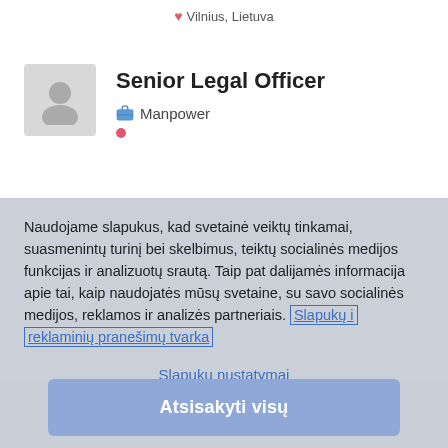Vilnius, Lietuva
Senior Legal Officer
Manpower
Naudojame slapukus, kad svetainė veiktų tinkamai, suasmenintų turinį bei skelbimus, teiktų socialinės medijos funkcijas ir analizuotų srautą. Taip pat dalijamės informacija apie tai, kaip naudojatės mūsų svetaine, su savo socialinės medijos, reklamos ir analizės partneriais. Slapukų ir reklaminių pranešimų tvarka
Slapukų nustatymai
Atsisakyti visų